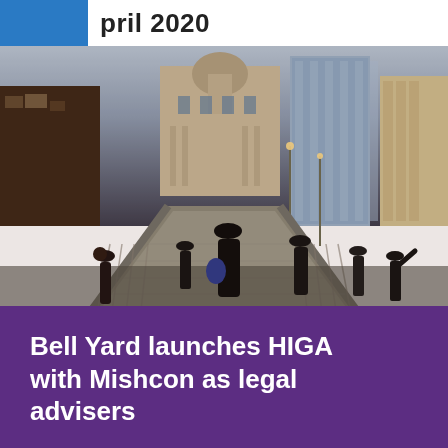April 2020
[Figure (photo): People walking across the Millennium Bridge in London with St Paul's Cathedral in the background, taken at dusk or evening with city lights visible.]
Bell Yard launches HIGA with Mishcon as legal advisers